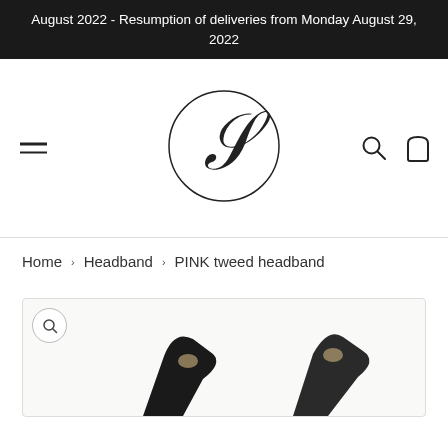August 2022 - Resumption of deliveries from Monday August 29, 2022
[Figure (logo): Circular logo with stylized script letter S inside a thin circle]
Home › Headband › PINK tweed headband
[Figure (photo): Product photo of PINK tweed headband with dark fabric and ornamental details, partially visible at bottom of page]